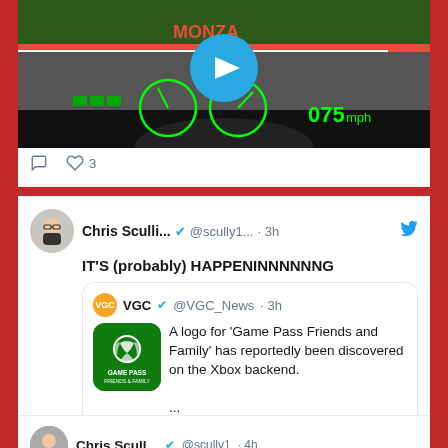[Figure (screenshot): Video thumbnail showing a racing game (Formula 1 at Monza) with speedometer displaying 075mph and a play button overlay]
♡ 3
[Figure (screenshot): Twitter/social media screenshot of a tweet by Chris Sculli (@scully1...) 3h ago saying: IT'S (probably) HAPPENINNNNNNG, with a quoted tweet from VGC (@VGC_News) about a logo for Game Pass Friends and Family reportedly discovered on the Xbox backend.]
Chris Scull... @scully1... · 3h
IT'S (probably) HAPPENINNNNNNG
VGC @VGC_News · 3h
A logo for 'Game Pass Friends and Family' has reportedly been discovered on the Xbox backend.
...
5  ♡ 12
Chris Scull... @scully1 · 4h